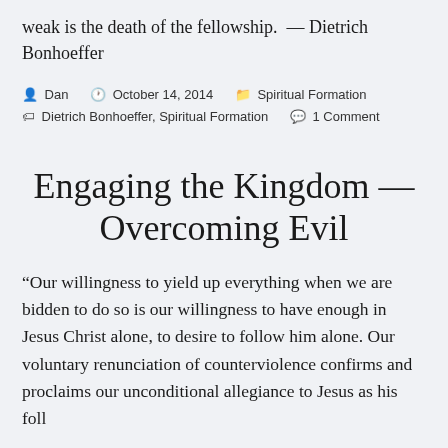weak is the death of the fellowship.  — Dietrich Bonhoeffer
By Dan  |  October 14, 2014  |  Spiritual Formation  |  Tags: Dietrich Bonhoeffer, Spiritual Formation  |  1 Comment
Engaging the Kingdom — Overcoming Evil
“Our willingness to yield up everything when we are bidden to do so is our willingness to have enough in Jesus Christ alone, to desire to follow him alone. Our voluntary renunciation of counterviolence confirms and proclaims our unconditional allegiance to Jesus as his followers, as those who are not of...